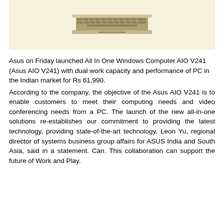[Figure (photo): Photo of an Asus laptop/keyboard on a light yellow/cream background, partially visible at the top of the page]
Asus on Friday launched All In One Windows Computer AIO V241 (Asus AIO V241) with dual work capacity and performance of PC in the Indian market for Rs 61,990. According to the company, the objective of the Asus AIO V241 is to enable customers to meet their computing needs and video conferencing needs from a PC. The launch of the new all-in-one solutions re-establishes our commitment to providing the latest technology, providing state-of-the-art technology, Leon Yu, regional director of systems business group affairs for ASUS India and South Asia, said in a statement. Can. This collaboration can support the future of Work and Play.